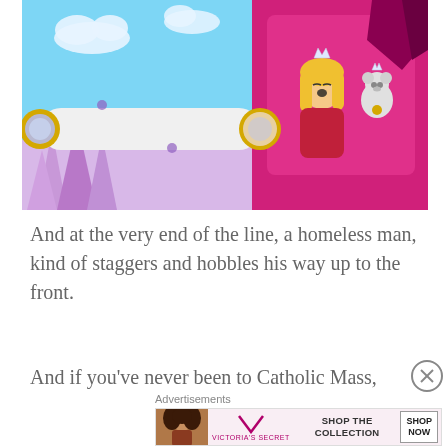[Figure (illustration): Animated 3D cartoon scene showing a princess-like character with blonde hair and a crown looking through a large white telescope with yellow trim, seated in a pink box/throne. A small bear-like character with a crown sits beside her. Background has blue sky with white clouds on the left and pink crystal-like shapes.]
And at the very end of the line, a homeless man, kind of staggers and hobbles his way up to the front.
And if you've never been to Catholic Mass,
[Figure (infographic): Victoria's Secret advertisement banner showing a woman with curly hair on the left, Victoria's Secret logo in the center, text 'SHOP THE COLLECTION', and a white 'SHOP NOW' button on the right.]